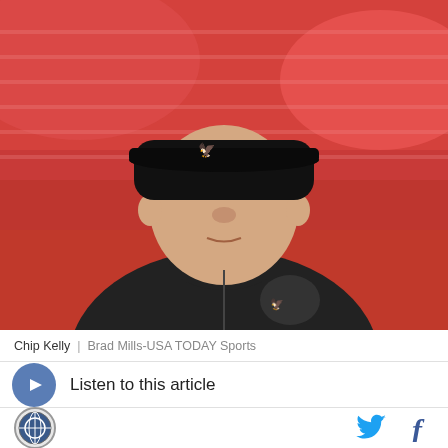[Figure (photo): Chip Kelly wearing a black Philadelphia Eagles jacket and Eagles cap, standing in a stadium with red seats in the background. Photo by Brad Mills-USA TODAY Sports.]
Chip Kelly | Brad Mills-USA TODAY Sports
Listen to this article
[Figure (logo): NFL/sports publication logo circle and social media share icons for Twitter and Facebook]